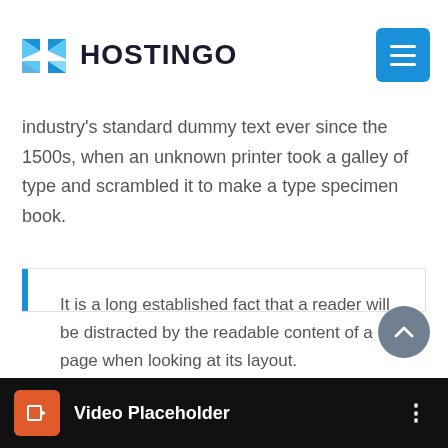HOSTINGO
industry's standard dummy text ever since the 1500s, when an unknown printer took a galley of type and scrambled it to make a type specimen book.
It is a long established fact that a reader will be distracted by the readable content of a page when looking at its layout.
— Michal Smart
[Figure (other): Video Placeholder bar at bottom of page]